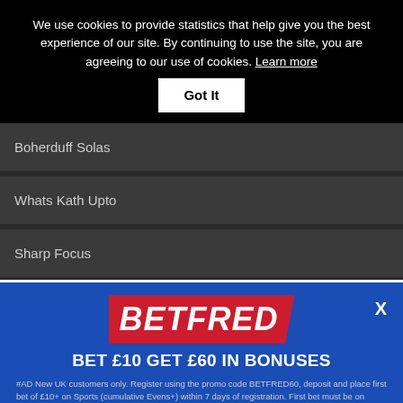We use cookies to provide statistics that help give you the best experience of our site. By continuing to use the site, you are agreeing to our use of cookies. Learn more
Got It
Boherduff Solas
Whats Kath Upto
Sharp Focus
[Figure (screenshot): Betfred advertisement modal with logo, offer text BET £10 GET £60 IN BONUSES, terms text, and a banner showing GET £60 IN BONUSES WHEN YOU STAKE £10 with Claim Here button]